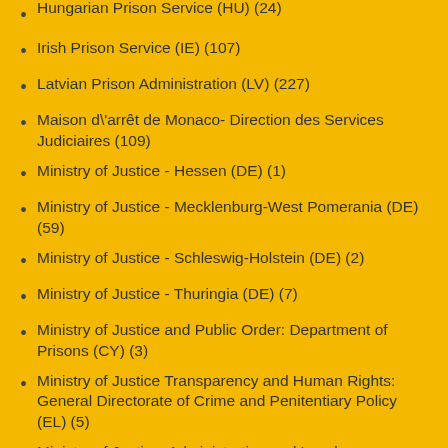Hungarian Prison Service (HU) (24)
Irish Prison Service (IE) (107)
Latvian Prison Administration (LV) (227)
Maison d\'arrêt de Monaco- Direction des Services Judiciaires (109)
Ministry of Justice - Hessen (DE) (1)
Ministry of Justice - Mecklenburg-West Pomerania (DE) (59)
Ministry of Justice - Schleswig-Holstein (DE) (2)
Ministry of Justice - Thuringia (DE) (7)
Ministry of Justice and Public Order: Department of Prisons (CY) (3)
Ministry of Justice Transparency and Human Rights: General Directorate of Crime and Penitentiary Policy (EL) (5)
Ministry of Justice, Administration and Local Government: Prison Administration (HR) (142)
Ministry of Justice: Department of Prison